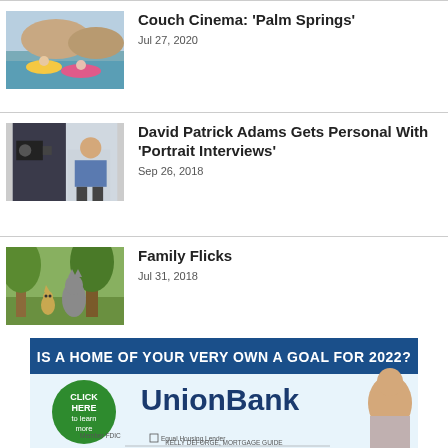[Figure (photo): Two people relaxing on pool floats outdoors near a desert landscape]
Couch Cinema: 'Palm Springs'
Jul 27, 2020
[Figure (photo): Man in blue shirt seated in front of a camera in a studio setting]
David Patrick Adams Gets Personal With 'Portrait Interviews'
Sep 26, 2018
[Figure (photo): Animated cartoon characters including a wolf and small animal in a forest]
Family Flicks
Jul 31, 2018
[Figure (illustration): UnionBank advertisement: IS A HOME OF YOUR VERY OWN A GOAL FOR 2022? Click here to learn more. Member FDIC Equal Housing Lender. Kelly DeForse, Mortgage Guide.]